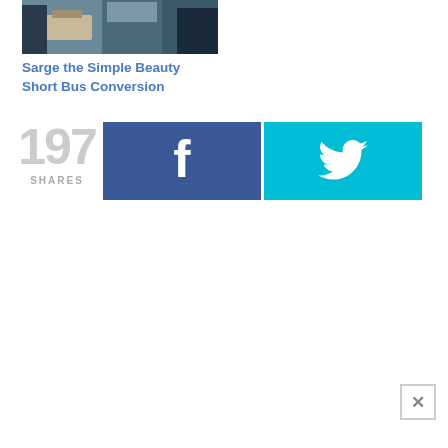[Figure (photo): Thumbnail photo of a short bus interior conversion with people seated]
Sarge the Simple Beauty Short Bus Conversion
197 SHARES
[Figure (other): Facebook share button with 'f' icon]
[Figure (other): Twitter share button with bird icon]
[Figure (other): Close (X) button in bottom right corner]